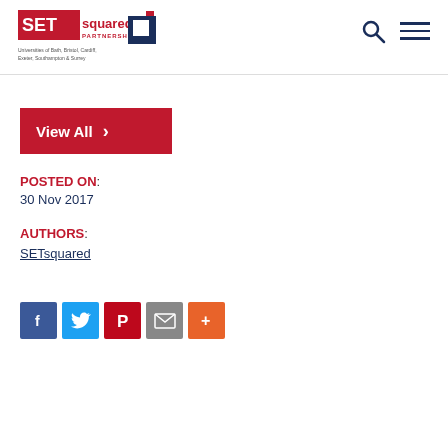SETsquared Partnership — Universities of Bath, Bristol, Cardiff, Exeter, Southampton & Surrey
[Figure (logo): SETsquared Partnership logo with red and blue text and blue square graphic, tagline: Universities of Bath, Bristol, Cardiff, Exeter, Southampton & Surrey]
View All →
POSTED ON: 30 Nov 2017
AUTHORS: SETsquared
[Figure (infographic): Social sharing buttons: Facebook, Twitter, Pinterest, Email, More (+)]